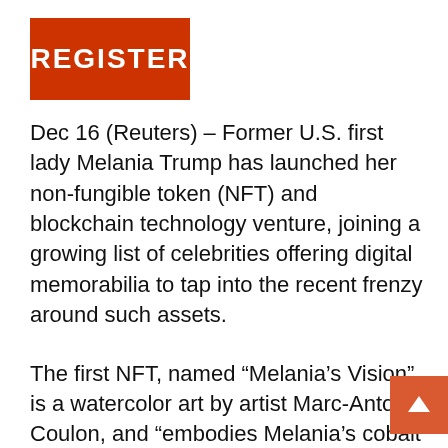[Figure (logo): Red rectangular logo with white bold text reading REGISTER]
Dec 16 (Reuters) – Former U.S. first lady Melania Trump has launched her non-fungible token (NFT) and blockchain technology venture, joining a growing list of celebrities offering digital memorabilia to tap into the recent frenzy around such assets.
The first NFT, named “Melania’s Vision”, is a watercolor art by artist Marc-Antoine Coulon, and “embodies Melania’s cobalt blue eyes”, according to a statement issued by Melania Trump’s office. It will be available to purchase between Dec. 16 and Dec. 31.
An NFT is a digital asset which uses blockchain to record the ownership status of digital objects. The